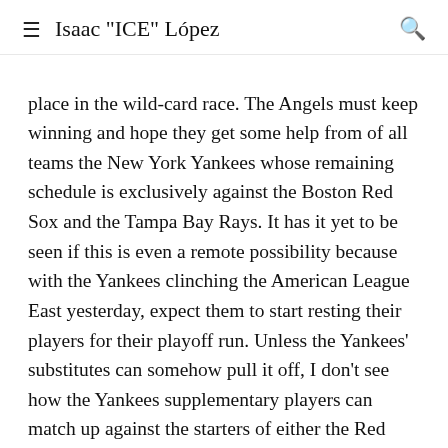≡  Isaac "ICE" López  🔍
place in the wild-card race. The Angels must keep winning and hope they get some help from of all teams the New York Yankees whose remaining schedule is exclusively against the Boston Red Sox and the Tampa Bay Rays. It has it yet to be seen if this is even a remote possibility because with the Yankees clinching the American League East yesterday, expect them to start resting their players for their playoff run. Unless the Yankees' substitutes can somehow pull it off, I don't see how the Yankees supplementary players can match up against the starters of either the Red Sox or the Rays; especially considering that both teams very much want the postseason for